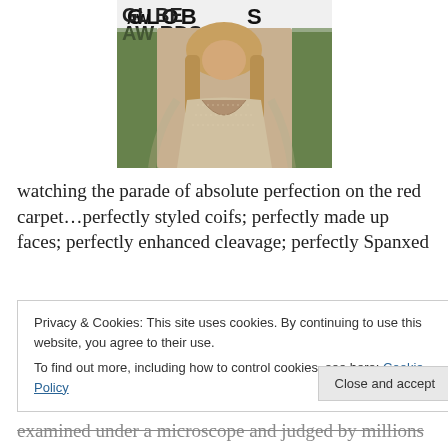[Figure (photo): A woman in a beige/gold sparkly deep-v gown posing at what appears to be the Golden Globe Awards red carpet. The Golden Globe Awards logo/signage is visible in the background along with greenery.]
watching the parade of absolute perfection on the red carpet…perfectly styled coifs; perfectly made up faces; perfectly enhanced cleavage; perfectly Spanxed
Privacy & Cookies: This site uses cookies. By continuing to use this website, you agree to their use.
To find out more, including how to control cookies, see here: Cookie Policy
examined under a microscope and judged by millions